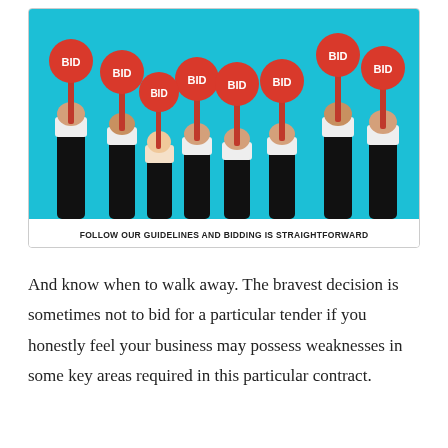[Figure (illustration): Illustration of multiple arms raised holding red circular 'BID' paddle signs against a cyan/turquoise background, representing bidding at an auction.]
FOLLOW OUR GUIDELINES AND BIDDING IS STRAIGHTFORWARD
And know when to walk away. The bravest decision is sometimes not to bid for a particular tender if you honestly feel your business may possess weaknesses in some key areas required in this particular contract.